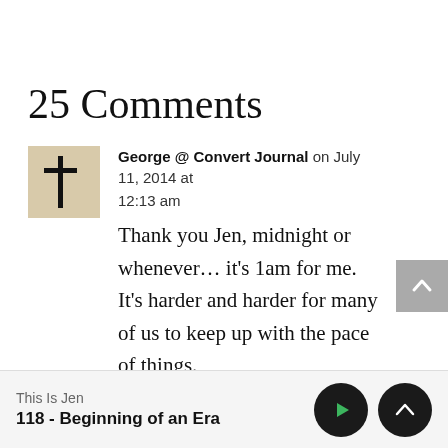25 Comments
George @ Convert Journal on July 11, 2014 at 12:13 am
Thank you Jen, midnight or whenever… it's 1am for me. It's harder and harder for many of us to keep up with the pace of things.
This Is Jen
118 - Beginning of an Era